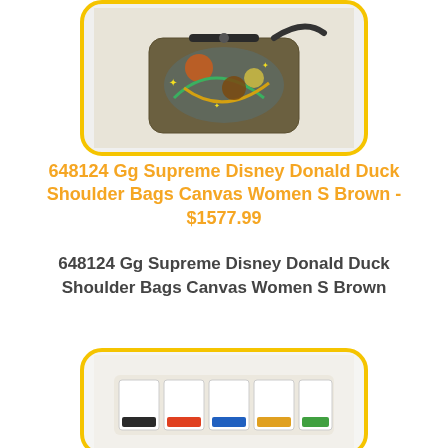[Figure (photo): Product photo of a Gucci GG Supreme Disney Donald Duck shoulder bag, colorful canvas with Disney characters, shown with a strap, displayed in a rounded yellow-bordered card.]
648124 Gg Supreme Disney Donald Duck Shoulder Bags Canvas Women S Brown - $1577.99
648124 Gg Supreme Disney Donald Duck Shoulder Bags Canvas Women S Brown
[Figure (photo): Product photo of a Gucci GG Supreme organizer/travel case, light beige with multiple compartments, displayed in a rounded yellow-bordered card.]